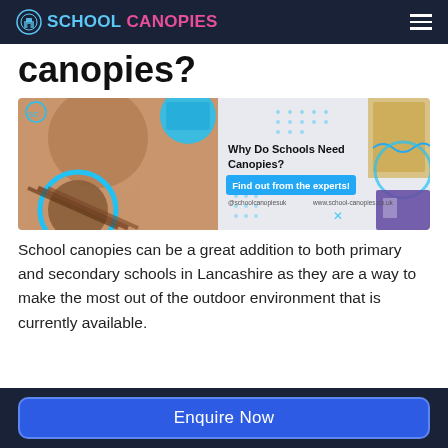SCHOOLCANOPIES
canopies?
[Figure (screenshot): Promotional image for School Canopies showing collage of school canopy installations with text 'Why Do Schools Need Canopies?' and a blue button 'Find out from the experts!' with social handles @schoolcanopiesuk and www.school-canopies.co.uk]
School canopies can be a great addition to both primary and secondary schools in Lancashire as they are a way to make the most out of the outdoor environment that is currently available.
Enquire Now